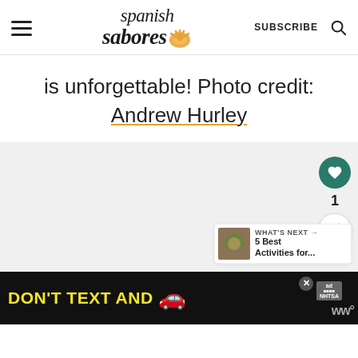Spanish Sabores — SUBSCRIBE
is unforgettable! Photo credit: Andrew Hurley
[Figure (photo): Gray placeholder image area for a photo]
[Figure (infographic): What's Next widget showing thumbnail and text: 5 Best Activities for...]
[Figure (infographic): DON'T TEXT AND [car emoji] advertisement banner — NHTSA]